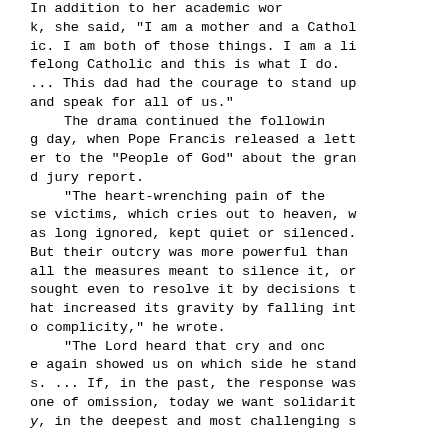In addition to her academic work, she said, "I am a mother and a Catholic. I am both of those things. I am a lifelong Catholic and this is what I do. ... This dad had the courage to stand up and speak for all of us."

    The drama continued the following day, when Pope Francis released a letter to the "People of God" about the grand jury report.

    "The heart-wrenching pain of these victims, which cries out to heaven, was long ignored, kept quiet or silenced. But their outcry was more powerful than all the measures meant to silence it, or sought even to resolve it by decisions that increased its gravity by falling into complicity," he wrote.

    "The Lord heard that cry and once again showed us on which side he stands. ... If, in the past, the response was one of omission, today we want solidarity, in the deepest and most challenging s